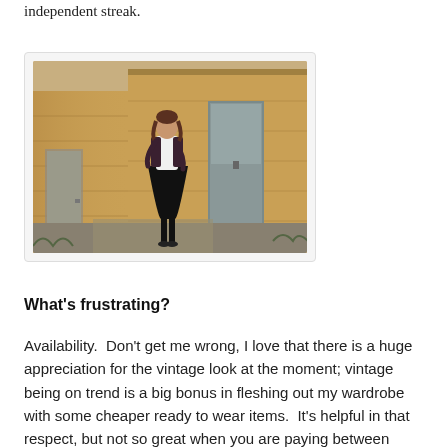independent streak.
[Figure (photo): A woman in vintage-style clothing (white top, black midi skirt, floral cardigan) standing in front of aged yellow stone/concrete buildings with weathered doors, photographed outdoors.]
What’s frustrating?
Availability.  Don’t get me wrong, I love that there is a huge appreciation for the vintage look at the moment; vintage being on trend is a big bonus in fleshing out my wardrobe with some cheaper ready to wear items.  It’s helpful in that respect, but not so great when you are paying between